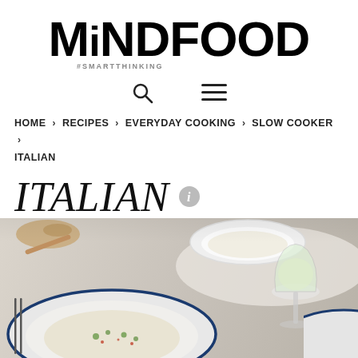MiNDFOOD #SMARTTHINKING
HOME > RECIPES > EVERYDAY COOKING > SLOW COOKER > ITALIAN
ITALIAN
[Figure (photo): Food photo showing Italian dishes — plates with risotto or similar dish garnished with herbs, a glass of white wine, and bread in the background on a light blue-white table setting]